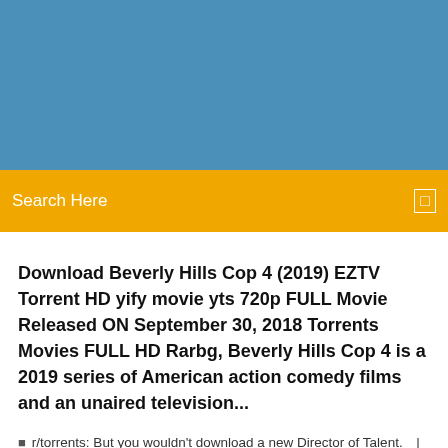[Figure (other): Blue banner background at top of page]
Search Here
Download Beverly Hills Cop 4 (2019) EZTV Torrent HD yify movie yts 720p FULL Movie Released ON September 30, 2018 Torrents Movies FULL HD Rarbg, Beverly Hills Cop 4 is a 2019 series of American action comedy films and an unaired television...
r/torrents: But you wouldn't download a new Director of Talent.  |